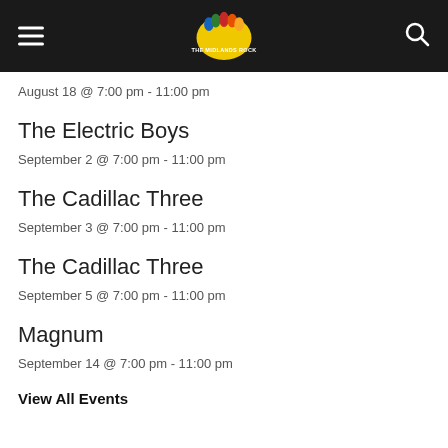The Midlands Rock
August 18 @ 7:00 pm - 11:00 pm
The Electric Boys
September 2 @ 7:00 pm - 11:00 pm
The Cadillac Three
September 3 @ 7:00 pm - 11:00 pm
The Cadillac Three
September 5 @ 7:00 pm - 11:00 pm
Magnum
September 14 @ 7:00 pm - 11:00 pm
View All Events